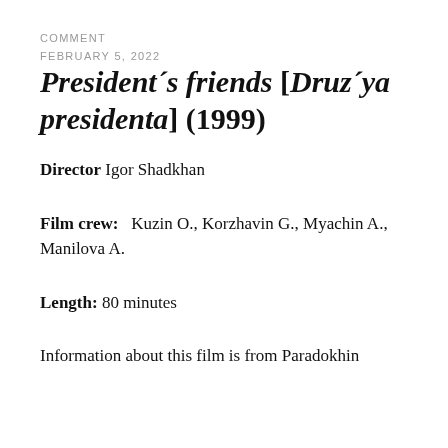COMMENT
FEBRUARY 5, 2022
President´s friends [Druz´ya presidenta] (1999)
Director Igor Shadkhan
Film crew:  Kuzin O., Korzhavin G., Myachin A., Manilova A.
Length: 80 minutes
Information about this film is from Paradokhin